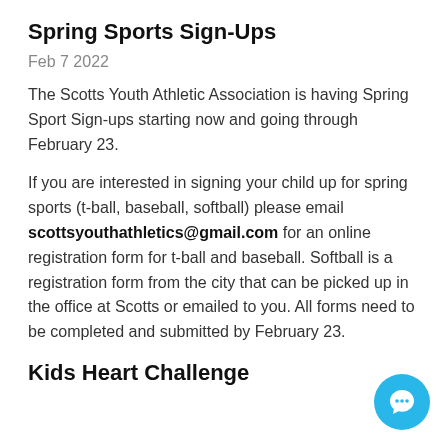Spring Sports Sign-Ups
Feb 7 2022
The Scotts Youth Athletic Association is having Spring Sport Sign-ups starting now and going through February 23.
If you are interested in signing your child up for spring sports (t-ball, baseball, softball) please email scottsyouthathletics@gmail.com for an online registration form for t-ball and baseball. Softball is a registration form from the city that can be picked up in the office at Scotts or emailed to you. All forms need to be completed and submitted by February 23.
Kids Heart Challenge